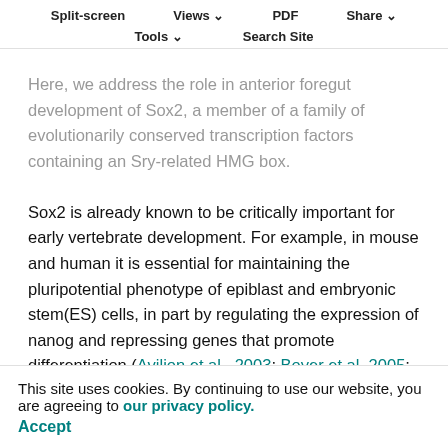Split-screen  Views  PDF  Share  Tools  Search Site
Here, we address the role in anterior foregut development of Sox2, a member of a family of evolutionarily conserved transcription factors containing an Sry-related HMG box. Sox2 is already known to be critically important for early vertebrate development. For example, in mouse and human it is essential for maintaining the pluripotential phenotype of epiblast and embryonic stem(ES) cells, in part by regulating the expression of nanog and repressing genes that promote differentiation (Avilion et al., 2003; Boyer et al.,2005; Rodda et al.,2005). In addition, Sox2 regulates the differentiation of neural stem cells in the CNS and sensory cells in the neuroepithelium of the retina and ... Sox2 is expressed at varying levels in the endoderm of foregut-derived organs, including the tongue, esophagus, trachea
This site uses cookies. By continuing to use our website, you are agreeing to our privacy policy. Accept